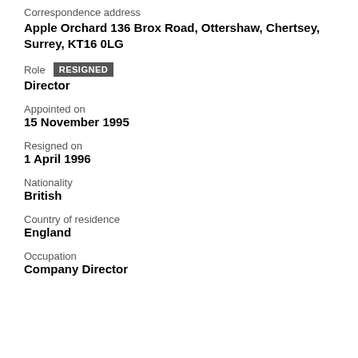Correspondence address
Apple Orchard 136 Brox Road, Ottershaw, Chertsey, Surrey, KT16 0LG
Role  RESIGNED
Director
Appointed on
15 November 1995
Resigned on
1 April 1996
Nationality
British
Country of residence
England
Occupation
Company Director